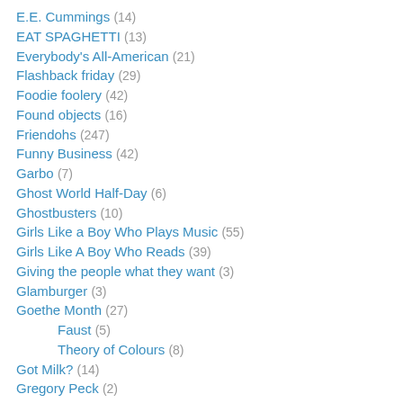E.E. Cummings (14)
EAT SPAGHETTI (13)
Everybody's All-American (21)
Flashback friday (29)
Foodie foolery (42)
Found objects (16)
Friendohs (247)
Funny Business (42)
Garbo (7)
Ghost World Half-Day (6)
Ghostbusters (10)
Girls Like a Boy Who Plays Music (55)
Girls Like A Boy Who Reads (39)
Giving the people what they want (3)
Glamburger (3)
Goethe Month (27)
Faust (5)
Theory of Colours (8)
Got Milk? (14)
Gregory Peck (2)